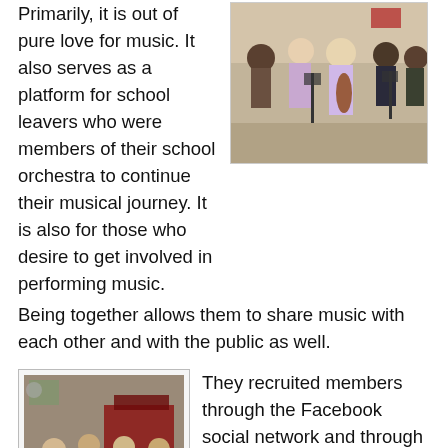Primarily, it is out of pure love for music. It also serves as a platform for school leavers who were members of their school orchestra to continue their musical journey. It is also for those who desire to get involved in performing music. Being together allows them to share music with each other and with the public as well.
[Figure (photo): Photo of a group of young musicians playing instruments in a room, including string and wind instruments, with music stands.]
[Figure (photo): Photo of a group of young musicians in a rehearsal space, with one person in foreground holding a long stringed instrument.]
They recruited members through the Facebook social network and through friends bringing friends who are interested. However, not everyone who joined are able to play a musical instrument. So, Khor took it upon himself with other ensemble members to teach these members at no cost at all. Khor says everyone who joined are committed to the same cause and that is the reason he is more than willing to help them learn music. Every member is